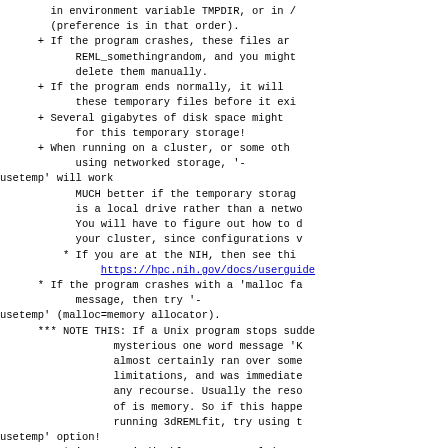in environment variable TMPDIR, or in /tmp (preference is in that order).
+ If the program crashes, these files are named REML_somethingrandom, and you might need to delete them manually.
+ If the program ends normally, it will delete these temporary files before it exits.
+ Several gigabytes of disk space might be needed for this temporary storage!
+ When running on a cluster, or some other system using networked storage, '-usetemp' will work
  MUCH better if the temporary storage is a local drive rather than a network drive. You will have to figure out how to do this on your cluster, since configurations vary.
  * If you are at the NIH, then see this page: https://hpc.nih.gov/docs/userguide...
* If the program crashes with a 'malloc failure' message, then try '-usetemp' (malloc=memory allocator).
*** NOTE THIS: If a Unix program stops suddenly with a mysterious one word message 'Killed', it almost certainly ran over some system resource limitations, and was immediately killed without any recourse. Usually the resource that runs out of is memory. So if this happens when running 3dREMLfit, try using the '-usetemp' option!
  * '-usetemp' disables OpenMP multi-